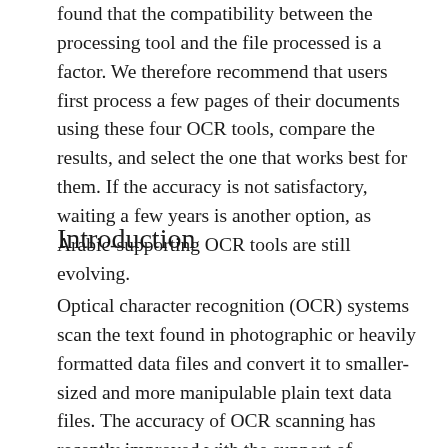found that the compatibility between the processing tool and the file processed is a factor. We therefore recommend that users first process a few pages of their documents using these four OCR tools, compare the results, and select the one that works best for them. If the accuracy is not satisfactory, waiting a few years is another option, as Arabic-supporting OCR tools are still evolving.
Introduction
Optical character recognition (OCR) systems scan the text found in photographic or heavily formatted data files and convert it to smaller-sized and more manipulable plain text data files. The accuracy of OCR scanning has recently improved with the support of artificial intelligence technologies. Although the scanning results are still not 100% accurate and do not eliminate the need for verification with the human eye, OCR has nevertheless become indispensable for digitizing documents.